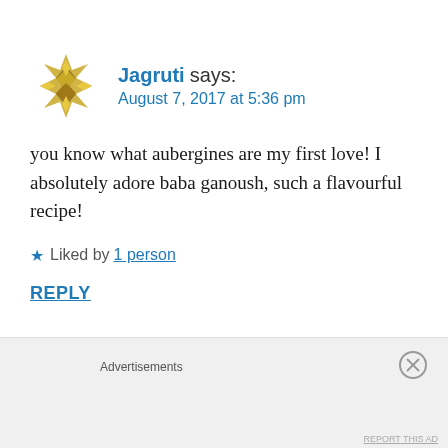[Figure (logo): Decorative geometric star/snowflake avatar in gold/olive tones for user Jagruti]
Jagruti says:
August 7, 2017 at 5:36 pm
you know what aubergines are my first love! I absolutely adore baba ganoush, such a flavourful recipe!
★ Liked by 1 person
REPLY
[Figure (photo): Profile photo thumbnail of second commenter afroz961]
afroz961 says:
Advertisements
REPORT THIS AD